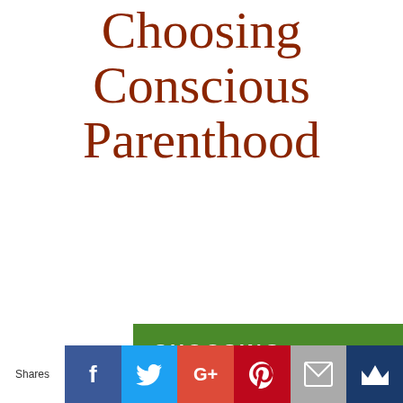Choosing Conscious Parenthood
[Figure (illustration): Book cover for 'Choosing Conscious Parenthood: Have a Conflict-Free Relationship with Your Toddler and Teen-To-Be'. Green background with white text 'CHOOSING' at top, large yellow bold text 'CONSCIOUS PARENTHOOD', white italic subtitle below.]
Shares
f
Twitter bird icon
G+
P
Mail icon
Crown icon